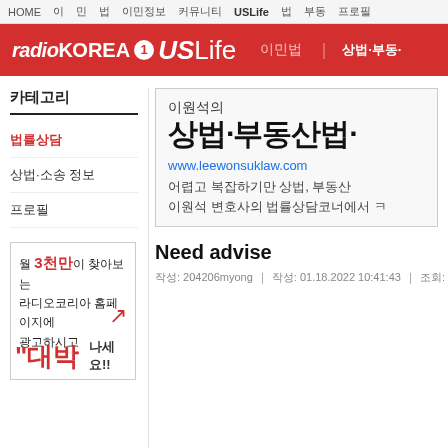HOME | | | | | USLife | | | |
[Figure (logo): radioKOREA US Life red banner logo with Korean menu items 이민법 | 상법·부동·]
카테고리
법률상담
상법·소송 정보
프로필
[Figure (infographic): Advertisement: 월 3천만이 찾아보는 라디오코리아 홈페이지에 광고하시고 with red arrow trend and 대박나세요!! text]
이원석의 상법·부동산법·
www.leewonsuklaw.com
어렵고 복잡하기만 상법, 부동산 이원석 변호사의 법률상담코너에서 ㅋ
Need advise
작성: 204206myong | 작성: 01.18.2022 10:41:43 | 조회: 1128